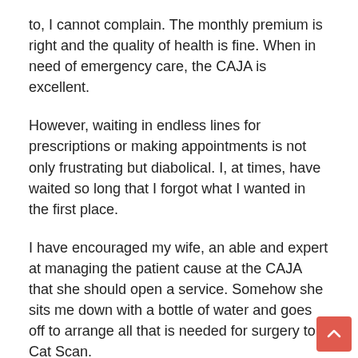to,  I cannot complain. The monthly premium is right and the quality of health is fine. When in need of emergency care, the CAJA is excellent.
However, waiting in endless lines for prescriptions or making appointments is not only frustrating but diabolical. I, at times, have waited so long that I forgot what I wanted in the first place.
I have encouraged my wife, an able and expert at managing the patient cause at the CAJA that she should open a service. Somehow she sits me down with a bottle of water and goes off to arrange all that is needed for surgery to a Cat Scan.
And, she comes back with the right appointments, and a smile as if I am the victim of this nonsense. (I love her for that alone.